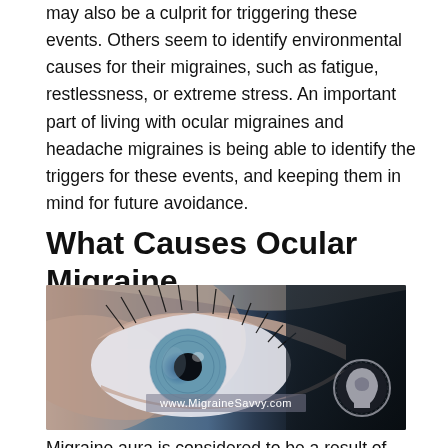may also be a culprit for triggering these events. Others seem to identify environmental causes for their migraines, such as fatigue, restlessness, or extreme stress. An important part of living with ocular migraines and headache migraines is being able to identify the triggers for these events, and keeping them in mind for future avoidance.
What Causes Ocular Migraine
[Figure (photo): Close-up photograph of a blue human eye with long eyelashes against a dark background. The image transitions from warm skin tones on the left to a very dark background on the right. A watermark reads 'www.MigraineSavvy.com' and a circular logo with a brain/head silhouette is visible in the lower right corner.]
Migraine aura is considered to be a result of abnormal